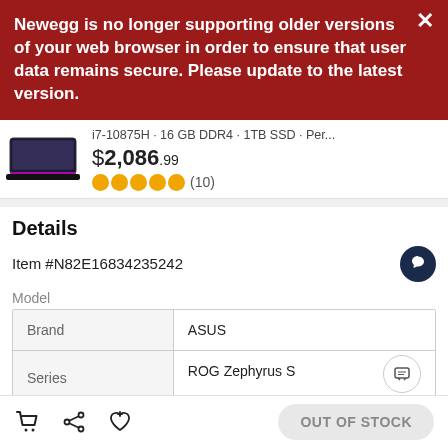Newegg is no longer supporting older versions of your web browser in order to ensure that user data remains secure. Please update to the latest version.
i7-10875H · 16 GB DDR4 · 1TB SSD · Per...
$2,086.99
(10)
Details
Item #N82E16834235242
Model
|  |  |
| --- | --- |
| Brand | ASUS |
| Series | ROG Zephyrus S |
| Model | GX502GW-XB76 |
OUT OF STOCK